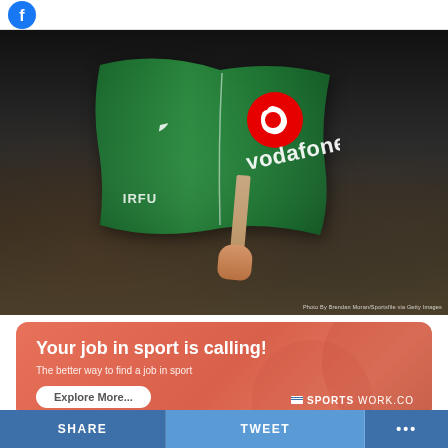[Figure (photo): A hand holding a green Ireland rugby flag with IRFU and Vodafone branding, waving in front of a blurred crowd background]
Photo By Brendan Moran/Sportsfile via Getty Images
[Figure (infographic): Advertisement banner: Your job in sport is calling! The better way to find a job in sport. Sportswork.co logo on salmon/coral red rounded rectangle background]
SHARE   TWEET   ...